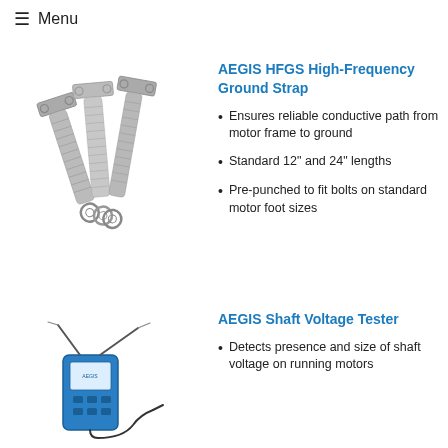≡ Menu
[Figure (photo): AEGIS HFGS High-Frequency Ground Strap product photo showing braided metal straps with ring terminals]
AEGIS HFGS High-Frequency Ground Strap
Ensures reliable conductive path from motor frame to ground
Standard 12" and 24" lengths
Pre-punched to fit bolts on standard motor foot sizes
[Figure (photo): AEGIS Shaft Voltage Tester product photo showing a handheld blue device with probes]
AEGIS Shaft Voltage Tester
Detects presence and size of shaft voltage on running motors